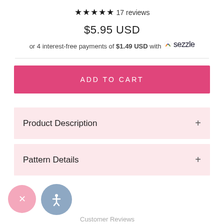★★★★★ 17 reviews
$5.95 USD
or 4 interest-free payments of $1.49 USD with 🌐 sezzle
ADD TO CART
Product Description +
Pattern Details +
Customer Reviews